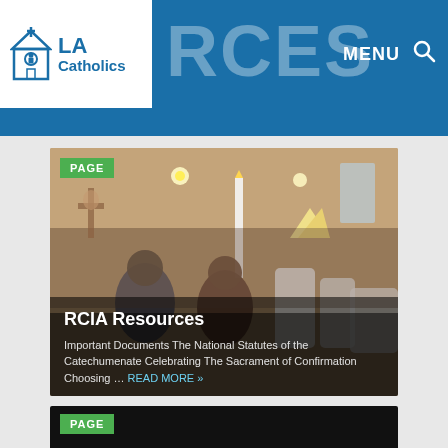[Figure (logo): LA Catholics logo with church icon]
RCES  MENU 🔍
[Figure (photo): Photo of a Catholic confirmation ceremony with bishop, clergy, and congregation inside a church]
RCIA Resources
Important Documents The National Statutes of the Catechumenate Celebrating The Sacrament of Confirmation Choosing … READ MORE »
[Figure (photo): Second article photo – partially visible, dark background]